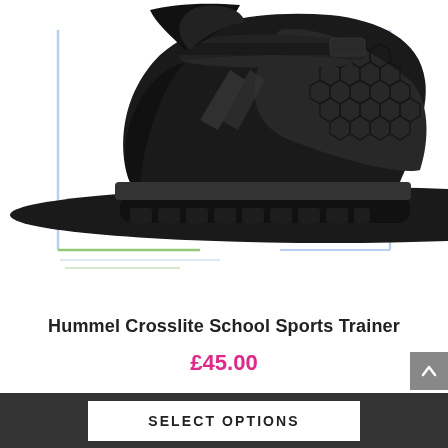[Figure (photo): A black Hummel Crosslite school sports trainer sneaker on a white background with decorative blue and green corner bracket graphics]
Hummel Crosslite School Sports Trainer
£45.00
SELECT OPTIONS